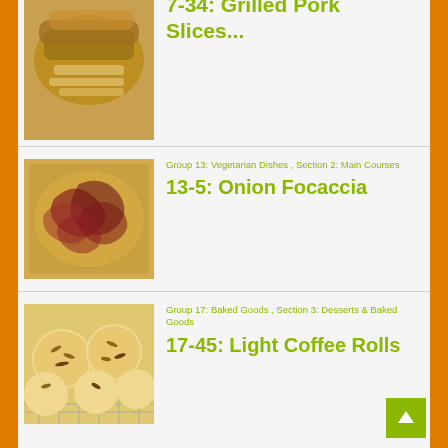[Figure (photo): Grilled pork slices with pasta/noodles on a white plate]
Group 07: Pork , Section 2: Main Courses
7-34: Grilled Pork Slices...
[Figure (photo): Onion focaccia bread with caramelized red onions on a baking tray]
Group 13: Vegetarian Dishes , Section 2: Main Courses
13-5: Onion Focaccia
[Figure (photo): Light coffee rolls with sliced almonds on a cooling rack]
Group 17: Baked Goods , Section 3: Desserts & Baked Goods
17-45: Light Coffee Rolls